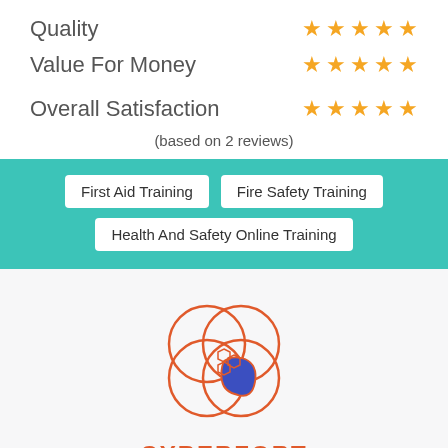Quality — ★★★★★
Value For Money — ★★★★★
Overall Satisfaction — ★★★★★
(based on 2 reviews)
First Aid Training
Fire Safety Training
Health And Safety Online Training
[Figure (logo): Cyberfort logo: four overlapping circles with a blue geometric shape in the lower-right quadrant, orange outline, text CYBERFORT below in orange]